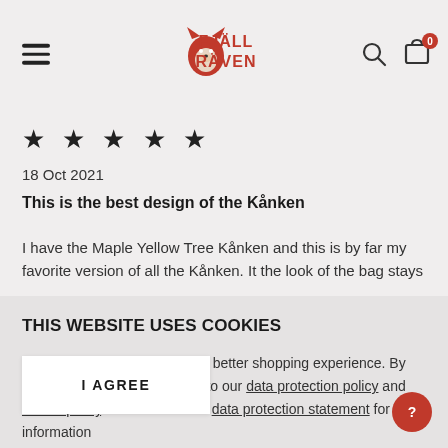Fjällräven — hamburger menu, search, cart (0)
★ ★ ★ ★ ★
18 Oct 2021
This is the best design of the Kånken
I have the Maple Yellow Tree Kånken and this is by far my favorite version of all the Kånken. It the look of the bag stays
THIS WEBSITE USES COOKIES
This site is using cookies for a better shopping experience. By using this website, you agree to our data protection policy and cookie policy. Please read our data protection statement for more information
I AGREE